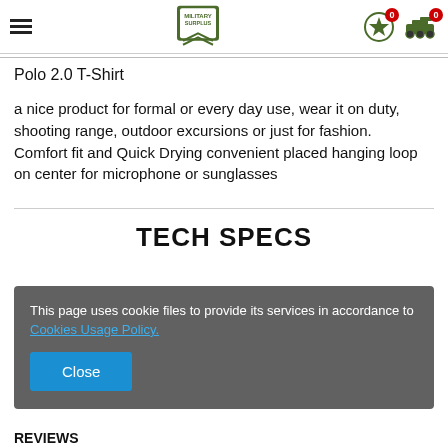[Figure (logo): Military Surplus logo with star and chevrons, navigation icons with hamburger menu, star badge (0), and tank badge (0)]
Polo 2.0 T-Shirt
a nice product for formal or every day use, wear it on duty, shooting range, outdoor excursions or just for fashion.
Comfort fit and Quick Drying convenient placed hanging loop on center for microphone or sunglasses
TECH SPECS
This page uses cookie files to provide its services in accordance to Cookies Usage Policy.
Close